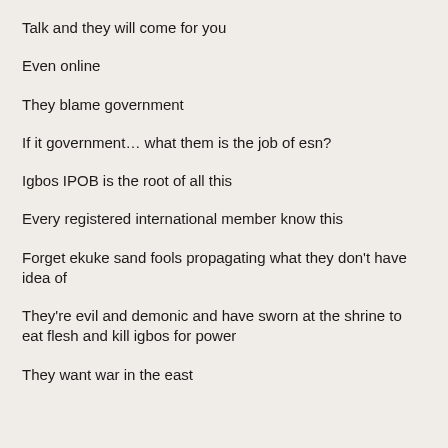Talk and they will come for you
Even online
They blame government
If it government… what them is the job of esn?
Igbos IPOB is the root of all this
Every registered international member know this
Forget ekuke sand fools propagating what they don't have idea of
They're evil and demonic and have sworn at the shrine to eat flesh and kill igbos for power
They want war in the east